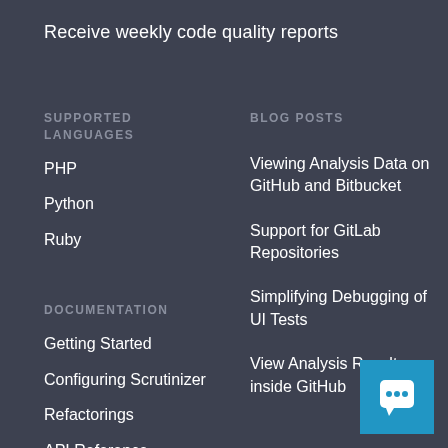Receive weekly code quality reports
SUPPORTED LANGUAGES
BLOG POSTS
PHP
Python
Ruby
Viewing Analysis Data on GitHub and Bitbucket
Support for GitLab Repositories
Simplifying Debugging of UI Tests
View Analysis Results inside GitHub
DOCUMENTATION
Getting Started
Configuring Scrutinizer
Refactorings
API Reference